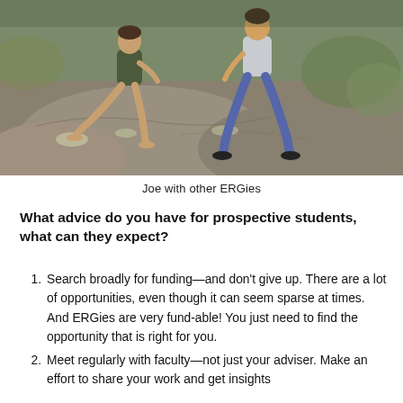[Figure (photo): Photo of Joe sitting on rocks outdoors with other ERGies, in a natural/hiking setting.]
Joe with other ERGies
What advice do you have for prospective students, what can they expect?
Search broadly for funding—and don't give up. There are a lot of opportunities, even though it can seem sparse at times. And ERGies are very fund-able! You just need to find the opportunity that is right for you.
Meet regularly with faculty—not just your adviser. Make an effort to share your work and get insights